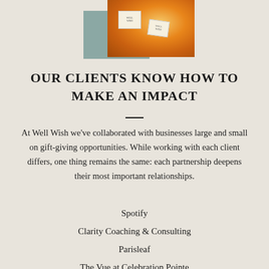[Figure (photo): Product photo of Well Wish gift boxes/products in orange/amber tones, overlapping a teal-green rectangle background block]
OUR CLIENTS KNOW HOW TO MAKE AN IMPACT
At Well Wish we've collaborated with businesses large and small on gift-giving opportunities. While working with each client differs, one thing remains the same: each partnership deepens their most important relationships.
Spotify
Clarity Coaching & Consulting
Parisleaf
The Vue at Celebration Pointe